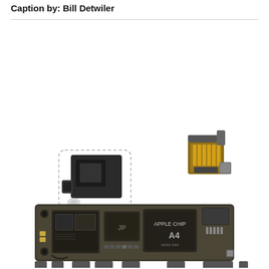Caption by: Bill Detwiler
[Figure (photo): Disassembled iPhone 4 components: a small shield/module piece with dashed outline (upper left area), a connector assembly with gold contacts (upper right area), and the main logic board showing the Apple A4 chip and various other components laid out on a white background.]